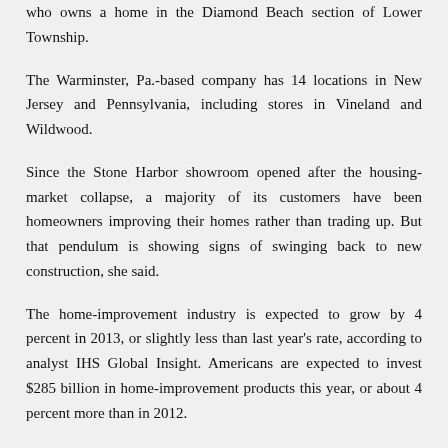who owns a home in the Diamond Beach section of Lower Township.
The Warminster, Pa.-based company has 14 locations in New Jersey and Pennsylvania, including stores in Vineland and Wildwood.
Since the Stone Harbor showroom opened after the housing-market collapse, a majority of its customers have been homeowners improving their homes rather than trading up. But that pendulum is showing signs of swinging back to new construction, she said.
The home-improvement industry is expected to grow by 4 percent in 2013, or slightly less than last year's rate, according to analyst IHS Global Insight. Americans are expected to invest $285 billion in home-improvement products this year, or about 4 percent more than in 2012.